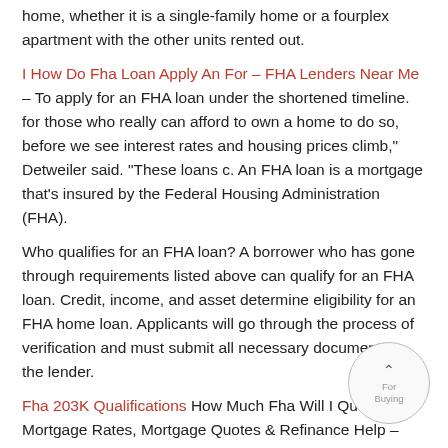home, whether it is a single-family home or a fourplex apartment with the other units rented out.
I How Do Fha Loan Apply An For – FHA Lenders Near Me – To apply for an FHA loan under the shortened timeline. for those who really can afford to own a home to do so, before we see interest rates and housing prices climb," Detweiler said. "These loans c. An FHA loan is a mortgage that's insured by the Federal Housing Administration (FHA).
Who qualifies for an FHA loan? A borrower who has gone through requirements listed above can qualify for an FHA loan. Credit, income, and asset determine eligibility for an FHA home loan. Applicants will go through the process of verification and must submit all necessary documents to the lender.
Fha 203K Qualifications How Much Fha Will I Qualify For Mortgage Rates, Mortgage Quotes & Refinance Help –